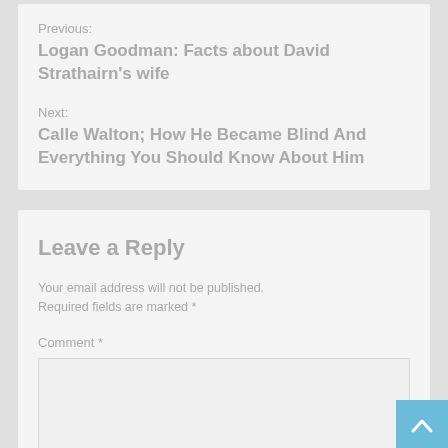Previous:
Logan Goodman: Facts about David Strathairn's wife
Next:
Calle Walton; How He Became Blind And Everything You Should Know About Him
Leave a Reply
Your email address will not be published. Required fields are marked *
Comment *